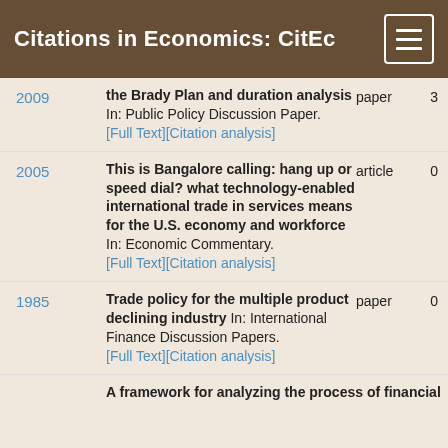Citations in Economics: CitEc
2009 | the Brady Plan and duration analysis In: Public Policy Discussion Paper. [Full Text][Citation analysis] | paper | 3
2005 | This is Bangalore calling: hang up or speed dial? what technology-enabled international trade in services means for the U.S. economy and workforce In: Economic Commentary. [Full Text][Citation analysis] | article | 0
1985 | Trade policy for the multiple product declining industry In: International Finance Discussion Papers. [Full Text][Citation analysis] | paper | 0
A framework for analyzing the process of financial ...